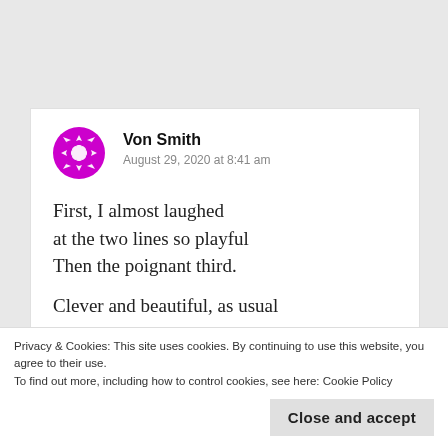[Figure (illustration): Magenta/purple snowflake-like avatar icon for user Von Smith]
Von Smith
August 29, 2020 at 8:41 am
First, I almost laughed
at the two lines so playful
Then the poignant third.

Clever and beautiful, as usual
Privacy & Cookies: This site uses cookies. By continuing to use this website, you agree to their use.
To find out more, including how to control cookies, see here: Cookie Policy
Close and accept